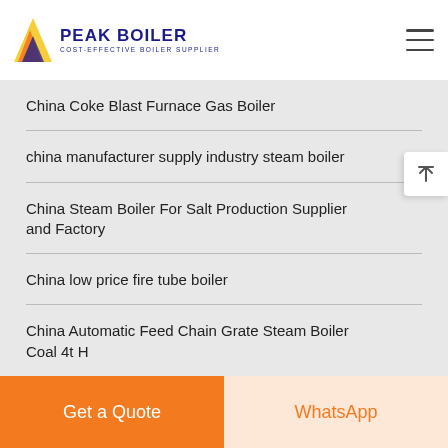[Figure (logo): Peak Boiler logo with triangular icon and text PEAK BOILER COST-EFFECTIVE BOILER SUPPLIER]
China Coke Blast Furnace Gas Boiler
china manufacturer supply industry steam boiler
China Steam Boiler For Salt Production Supplier and Factory
China low price fire tube boiler
China Automatic Feed Chain Grate Steam Boiler Coal 4t H